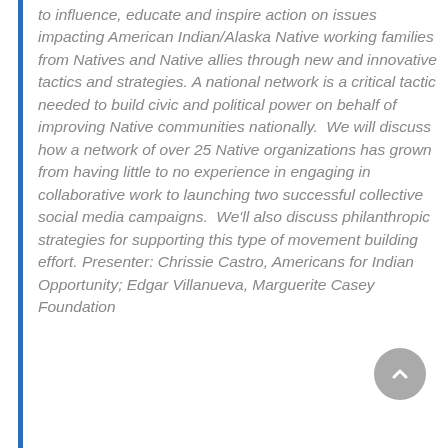to influence, educate and inspire action on issues impacting American Indian/Alaska Native working families from Natives and Native allies through new and innovative tactics and strategies. A national network is a critical tactic needed to build civic and political power on behalf of improving Native communities nationally.  We will discuss how a network of over 25 Native organizations has grown from having little to no experience in engaging in collaborative work to launching two successful collective social media campaigns.  We'll also discuss philanthropic strategies for supporting this type of movement building effort. Presenter: Chrissie Castro, Americans for Indian Opportunity; Edgar Villanueva, Marguerite Casey Foundation